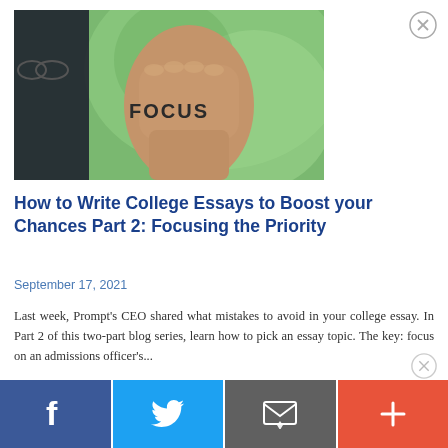[Figure (photo): Person raising a fist with 'FOCUS' written on the back of their hand, set against a green bokeh background. A person wearing sunglasses is partially visible on the left.]
How to Write College Essays to Boost your Chances Part 2: Focusing the Priority
September 17, 2021
Last week, Prompt's CEO shared what mistakes to avoid in your college essay. In Part 2 of this two-part blog series, learn how to pick an essay topic. The key: focus on an admissions officer's...